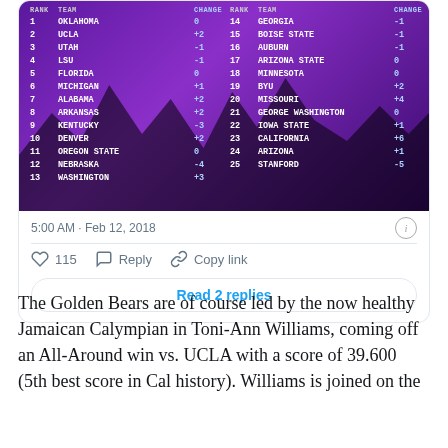[Figure (table-as-image): College gymnastics rankings table overlaid on purple background with crowd silhouettes. Two-column layout showing ranks 1-13 (left) and 14-25 (right) with team names and ranking changes.]
5:00 AM · Feb 12, 2018
115  Reply  Copy link
Read 2 replies
The Golden Bears are of course led by the now healthy Jamaican Calympian in Toni-Ann Williams, coming off an All-Around win vs. UCLA with a score of 39.600 (5th best score in Cal history). Williams is joined on the